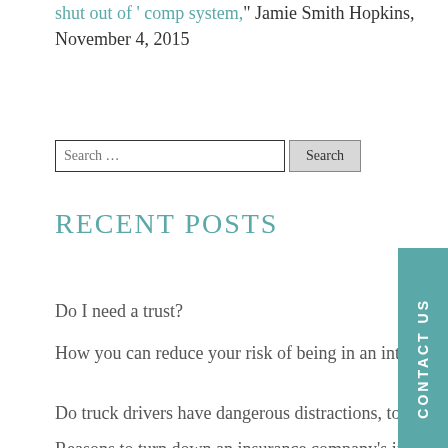shut out of ' comp system," Jamie Smith Hopkins, November 4, 2015
Search ...
RECENT POSTS
Do I need a trust?
How you can reduce your risk of being in an intersection crash
Do truck drivers have dangerous distractions, too?
Reasons to turn down an insurance company's initial offer